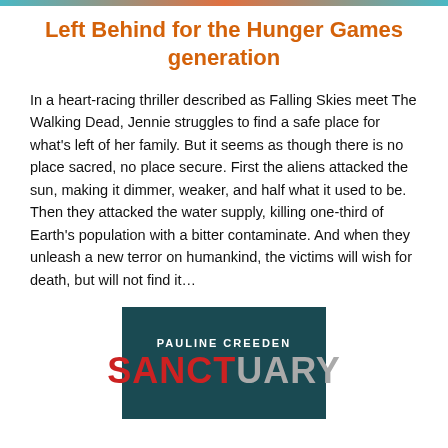Left Behind for the Hunger Games generation
In a heart-racing thriller described as Falling Skies meet The Walking Dead, Jennie struggles to find a safe place for what's left of her family. But it seems as though there is no place sacred, no place secure. First the aliens attacked the sun, making it dimmer, weaker, and half what it used to be. Then they attacked the water supply, killing one-third of Earth's population with a bitter contaminate. And when they unleash a new terror on humankind, the victims will wish for death, but will not find it…
[Figure (illustration): Book cover for 'Sanctuary' by Pauline Creeden. Dark teal background with white uppercase author name 'PAULINE CREEDEN' and large red/grey title text 'SANCTUARY'.]